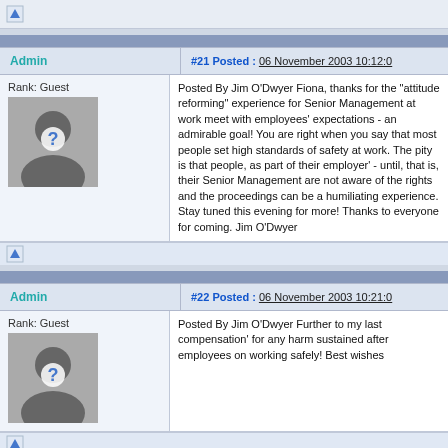Admin
#21 Posted : 06 November 2003 10:12:0
Rank: Guest
Posted By Jim O'Dwyer Fiona, thanks for the "attitude reforming" experience for Senior Management at work meet with employees' expectations - an admirable goal! You are right when you say that most people set high standards of safety at work. The pity is that people, as part of their employer' - until, that is, their Senior Management are not aware of the rights and the proceedings can be a humiliating experience. Stay tuned this evening for more! Thanks to everyone for coming. Jim O'Dwyer
Admin
#22 Posted : 06 November 2003 10:21:0
Rank: Guest
Posted By Jim O'Dwyer Further to my last compensation' for any harm sustained after employees on working safely! Best wishes